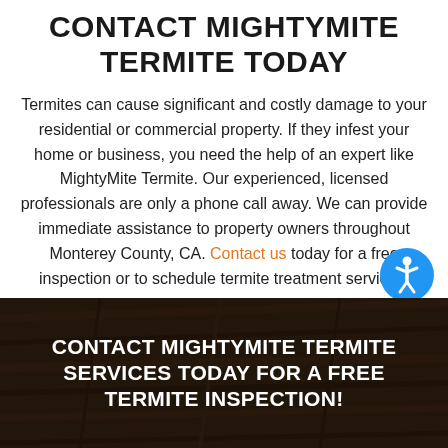CONTACT MIGHTYMITE TERMITE TODAY
Termites can cause significant and costly damage to your residential or commercial property. If they infest your home or business, you need the help of an expert like MightyMite Termite. Our experienced, licensed professionals are only a phone call away. We can provide immediate assistance to property owners throughout Monterey County, CA. Contact us today for a free inspection or to schedule termite treatment services.
[Figure (other): Accessibility icon button — blue circle with white human figure symbol]
[Figure (photo): Dark wood background image (termite-damaged wood) overlaid with dark semi-transparent layer]
CONTACT MIGHTYMITE TERMITE SERVICES TODAY FOR A FREE TERMITE INSPECTION!